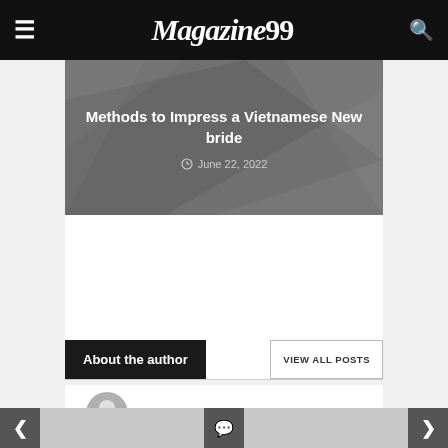Magazine99
[Figure (illustration): Featured article card with dark grey geometric background showing title 'Methods to Impress a Vietnamese New bride' and date 'June 22, 2022']
Methods to Impress a Vietnamese New bride
June 22, 2022
About the author
VIEW ALL POSTS
[Figure (illustration): Default grey user avatar/profile icon circle]